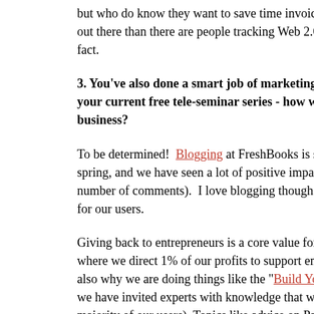but who do know they want to save time invoicing... there are more out there than there are people tracking Web 2.0 and I think that is a fact.
3. You've also done a smart job of marketing using your current free tele-seminar series - how well do this for your business?
To be determined! Blogging at FreshBooks is something we started this spring, and we have seen a lot of positive impact from it (our traffic, number of comments). I love blogging though because it creates a voice for our users.
Giving back to entrepreneurs is a core value for our business. That is where we direct 1% of our profits to support entrepreneurship. That is also why we are doing things like the "Build Your Business" series where we have invited experts with knowledge that web professionals (the majority of our users). Topics like advice on Pay-Per-Click and getting out of web analytics are topics that are relevant to many web professionals this knowledge is not only useful for our clients and their